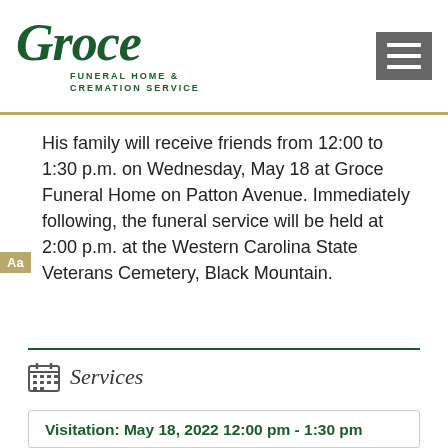[Figure (logo): Groce Funeral Home & Cremation Service logo in dark green italic script with hamburger menu icon]
His family will receive friends from 12:00 to 1:30 p.m. on Wednesday, May 18 at Groce Funeral Home on Patton Avenue. Immediately following, the funeral service will be held at 2:00 p.m. at the Western Carolina State Veterans Cemetery, Black Mountain.
Services
| Visitation: May 18, 2022 12:00 pm - 1:30 pm |